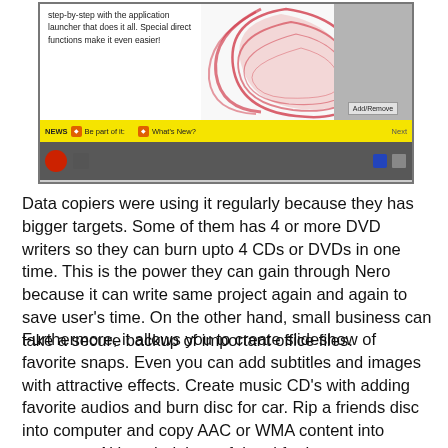[Figure (screenshot): Screenshot of a software application (likely Nero) showing a decorative red swirl graphic, text about the application launcher, a yellow NEWS bar with RSS icons and navigation, and a dark bottom bar with a red circular icon.]
Data copiers were using it regularly because they has bigger targets. Some of them has 4 or more DVD writers so they can burn upto 4 CDs or DVDs in one time. This is the power they can gain through Nero because it can write same project again and again to save user’s time. On the other hand, small business can take a secure backup of important office files.
Furthermore, it allows you to create slideshow of favorite snaps. Even you can add subtitles and images with attractive effects. Create music CD’s with adding favorite audios and burn disc for car. Rip a friends disc into computer and copy AAC or WMA content into computer. Although, it is useful tool for home users especially to deal with personal content without